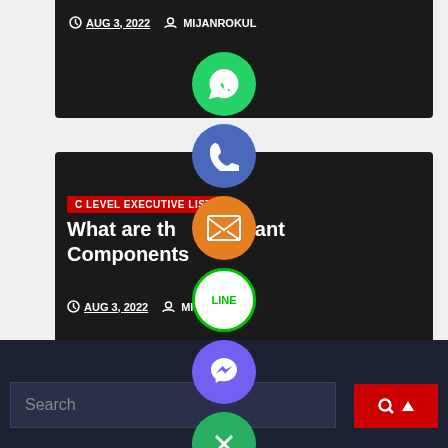AUG 3, 2022   MIJANROKUL
[Figure (screenshot): Dark card with C LEVEL EXECUTIVE LIST badge and article title 'What are the Important Components?' with date AUG 3, 2022 and author MIJANROKUL]
[Figure (infographic): Vertical stack of social media floating action buttons: WhatsApp (green), Phone (blue), Email (orange), LINE (white/green), Viber (purple), Close/X (green)]
Search
Search bar with red search button